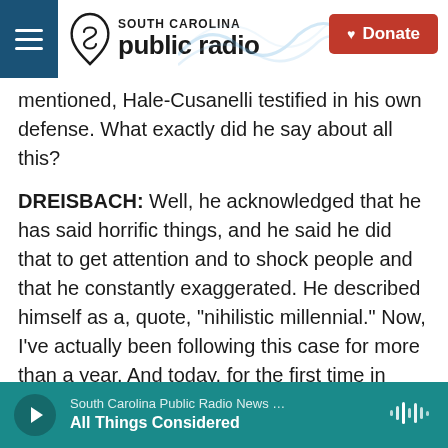South Carolina Public Radio – Donate
mentioned, Hale-Cusanelli testified in his own defense. What exactly did he say about all this?
DREISBACH: Well, he acknowledged that he has said horrific things, and he said he did that to get attention and to shock people and that he constantly exaggerated. He described himself as a, quote, "nihilistic millennial." Now, I've actually been following this case for more than a year. And today, for the first time in court, he said on the stand that he was actually half-Jewish and half-Puerto Rican, and his slurs were sometimes self-deprecating to get attention. Though, I should say that
South Carolina Public Radio News … All Things Considered